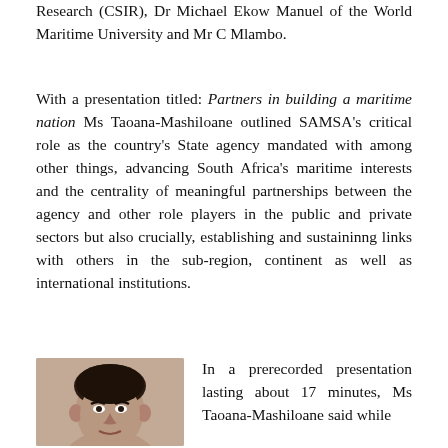Research (CSIR), Dr Michael Ekow Manuel of the World Maritime University and Mr C Mlambo.
With a presentation titled: Partners in building a maritime nation Ms Taoana-Mashiloane outlined SAMSA's critical role as the country's State agency mandated with among other things, advancing South Africa's maritime interests and the centrality of meaningful partnerships between the agency and other role players in the public and private sectors but also crucially, establishing and sustaininng links with others in the sub-region, continent as well as international institutions.
[Figure (photo): Headshot photo of a person, cropped showing head and upper shoulders against a neutral background.]
In a prerecorded presentation lasting about 17 minutes, Ms Taoana-Mashiloane said while